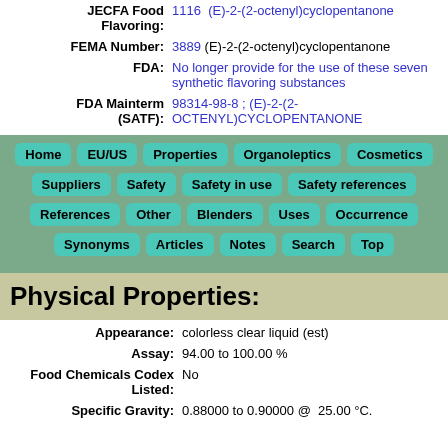JECFA Food Flavoring: 1116  (E)-2-(2-octenyl)cyclopentanone
FEMA Number: 3889 (E)-2-(2-octenyl)cyclopentanone
FDA: No longer provide for the use of these seven synthetic flavoring substances
FDA Mainterm (SATF): 98314-98-8 ; (E)-2-(2-OCTENYL)CYCLOPENTANONE
[Figure (infographic): Navigation button grid with teal rounded buttons on green background: Home, EU/US, Properties, Organoleptics, Cosmetics, Suppliers, Safety, Safety in use, Safety references, References, Other, Blenders, Uses, Occurrence, Synonyms, Articles, Notes, Search, Top]
Physical Properties:
Appearance: colorless clear liquid (est)
Assay: 94.00 to 100.00 %
Food Chemicals Codex Listed: No
Specific Gravity: 0.88000 to 0.90000 @  25.00 °C.